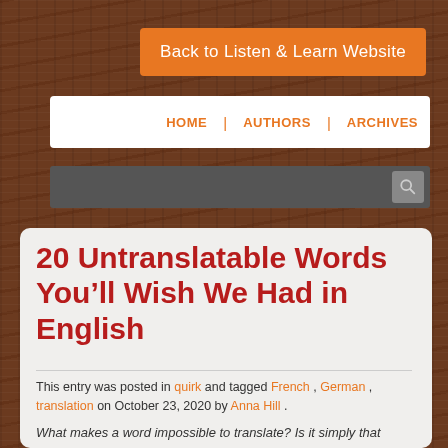Back to Listen & Learn Website
HOME | AUTHORS | ARCHIVES
20 Untranslatable Words You'll Wish We Had in English
This entry was posted in quirk and tagged French, German, translation on October 23, 2020 by Anna Hill .
What makes a word impossible to translate? Is it simply that